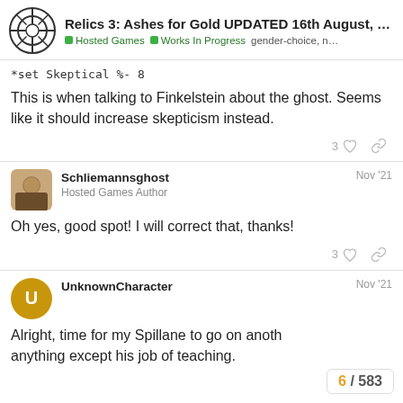Relics 3: Ashes for Gold UPDATED 16th August, ... | Hosted Games | Works In Progress | gender-choice, n...
*set Skeptical %- 8
This is when talking to Finkelstein about the ghost. Seems like it should increase skepticism instead.
Schliemannsghost  Nov '21
Hosted Games Author
Oh yes, good spot! I will correct that, thanks!
UnknownCharacter  Nov '21
Alright, time for my Spillane to go on anoth anything except his job of teaching.
6 / 583